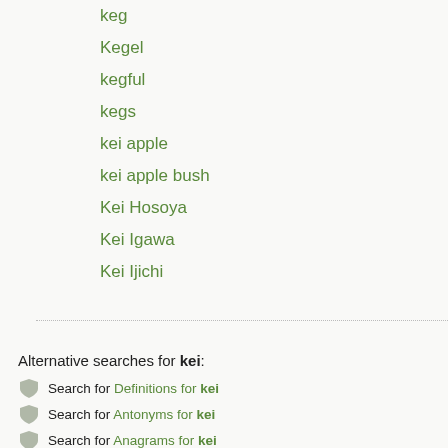keg
Kegel
kegful
kegs
kei apple
kei apple bush
Kei Hosoya
Kei Igawa
Kei Ijichi
Alternative searches for kei:
Search for Definitions for kei
Search for Antonyms for kei
Search for Anagrams for kei
Quotes containing the term kei